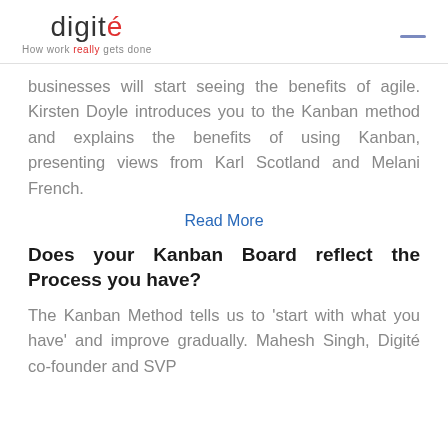digité — How work really gets done
businesses will start seeing the benefits of agile. Kirsten Doyle introduces you to the Kanban method and explains the benefits of using Kanban, presenting views from Karl Scotland and Melani French.
Read More
Does your Kanban Board reflect the Process you have?
The Kanban Method tells us to 'start with what you have' and improve gradually. Mahesh Singh, Digité co-founder and SVP